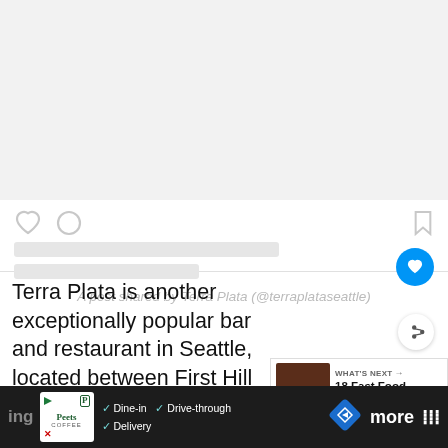[Figure (screenshot): Instagram embedded post placeholder with gray image area, heart/comment/bookmark icons, two gray loading skeleton lines, and caption text 'A post shared by Terra Plata (@terraplataseattle)']
A post shared by Terra Plata (@terraplataseattle)
Terra Plata is another exceptionally popular bar and restaurant in Seattle, located between First Hill and Capitol Hill on the east side of the expressway.
I admire the fact that Terra Plata uses locally sourced ingredients... more... sustainable...
[Figure (screenshot): Advertisement bar at bottom: Peet's Coffee ad with Dine-in, Drive-through, Delivery checkmarks and navigation icon]